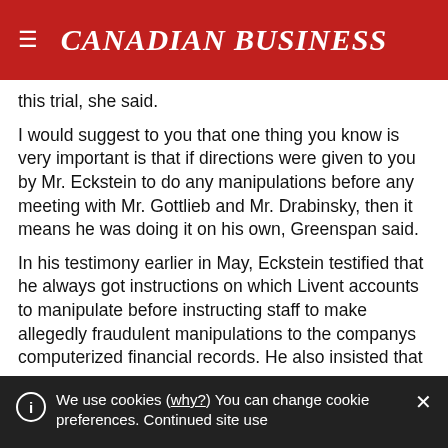CANADIAN BUSINESS
this trial, she said.
I would suggest to you that one thing you know is very important is that if directions were given to you by Mr. Eckstein to do any manipulations before any meeting with Mr. Gottlieb and Mr. Drabinsky, then it means he was doing it on his own, Greenspan said.
In his testimony earlier in May, Eckstein testified that he always got instructions on which Livent accounts to manipulate before instructing staff to make allegedly fraudulent manipulations to the companys computerized financial records. He also insisted that
We use cookies (why?) You can change cookie preferences. Continued site use